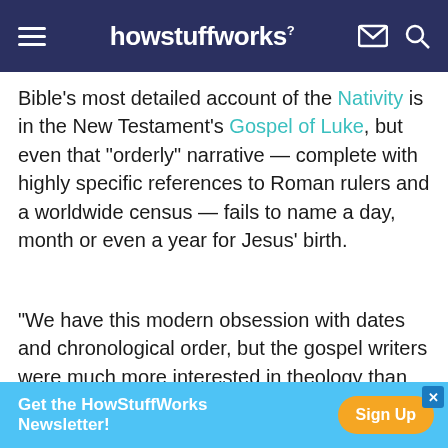howstuffworks
Bible's most detailed account of the Nativity is in the New Testament's Gospel of Luke, but even that "orderly" narrative — complete with highly specific references to Roman rulers and a worldwide census — fails to name a day, month or even a year for Jesus' birth.
"We have this modern obsession with dates and chronological order, but the gospel writers were much more interested in theology than chronology," says Ian Paul, a theologian, biblical scholar and author who blogs at his website Psephizo
[Figure (screenshot): Advertisement banner: Get the HowStuffWorks Newsletter! with Sign Up button]